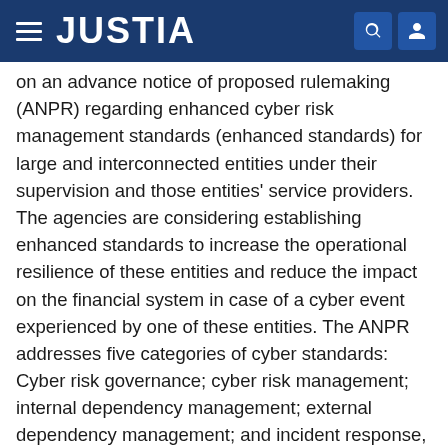JUSTIA
on an advance notice of proposed rulemaking (ANPR) regarding enhanced cyber risk management standards (enhanced standards) for large and interconnected entities under their supervision and those entities' service providers. The agencies are considering establishing enhanced standards to increase the operational resilience of these entities and reduce the impact on the financial system in case of a cyber event experienced by one of these entities. The ANPR addresses five categories of cyber standards: Cyber risk governance; cyber risk management; internal dependency management; external dependency management; and incident response, cyber resilience, and situational awareness. The agencies are considering implementing the enhanced standards in a tiered manner, imposing more stringent standards on the systems of those entities that are critical to the